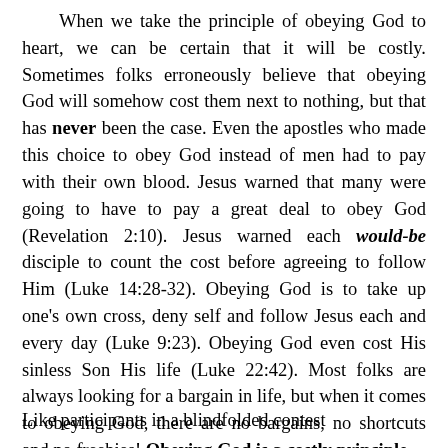When we take the principle of obeying God to heart, we can be certain that it will be costly. Sometimes folks erroneously believe that obeying God will somehow cost them next to nothing, but that has never been the case. Even the apostles who made this choice to obey God instead of men had to pay with their own blood. Jesus warned that many were going to have to pay a great deal to obey God (Revelation 2:10). Jesus warned each would-be disciple to count the cost before agreeing to follow Him (Luke 14:28-32). Obeying God is to take up one's own cross, deny self and follow Jesus each and every day (Luke 9:23). Obeying God even cost His sinless Son His life (Luke 22:42). Most folks are always looking for a bargain in life, but when it comes to obeying God, there are no bargains, no shortcuts and no freebies! Obeying God is a costly principle.
Like participants in a blindfolded contest